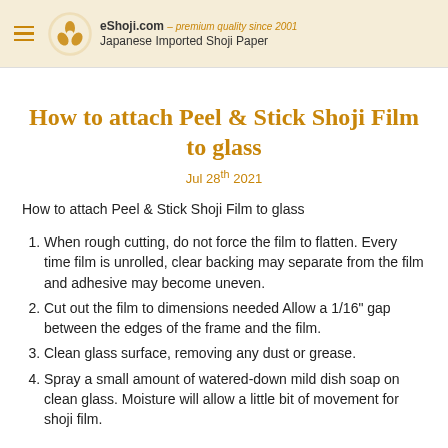eShoji.com – premium quality since 2001 Japanese Imported Shoji Paper
How to attach Peel & Stick Shoji Film to glass
Jul 28th 2021
How to attach Peel & Stick Shoji Film to glass
When rough cutting, do not force the film to flatten. Every time film is unrolled, clear backing may separate from the film and adhesive may become uneven.
Cut out the film to dimensions needed Allow a 1/16″ gap between the edges of the frame and the film.
Clean glass surface, removing any dust or grease.
Spray a small amount of watered-down mild dish soap on clean glass. Moisture will allow a little bit of movement for shoji film.